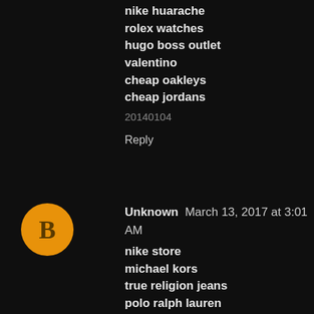nike huarache
rolex watches
hugo boss outlet
valentino
cheap oakleys
cheap jordans
20140104
Reply
Unknown  March 13, 2017 at 3:01 AM
nike store
michael kors
true religion jeans
polo ralph lauren
coach handbags
valentino shoes
nike air max uk
tory burch outlet
cheap ray ban sunglasses
ray ban canada
20172 13wenzdongdong